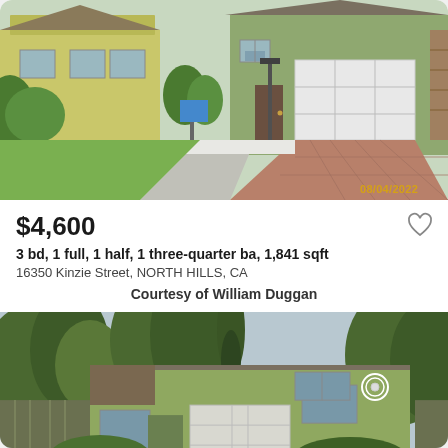[Figure (photo): Exterior front view of a single-story green/beige house with white garage door and brick paver driveway, surrounded by lawn. Timestamp 08/04/2022 in orange text bottom right.]
$4,600
3 bd, 1 full, 1 half, 1 three-quarter ba, 1,841 sqft
16350 Kinzie Street, NORTH HILLS, CA
Courtesy of William Duggan
[Figure (photo): Exterior front view of a two-story olive/green house with attached garage, surrounded by large trees including a tall cypress. Overcast sky.]